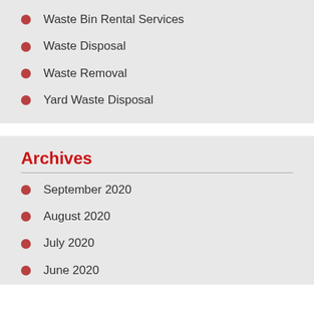Waste Bin Rental Services
Waste Disposal
Waste Removal
Yard Waste Disposal
Archives
September 2020
August 2020
July 2020
June 2020